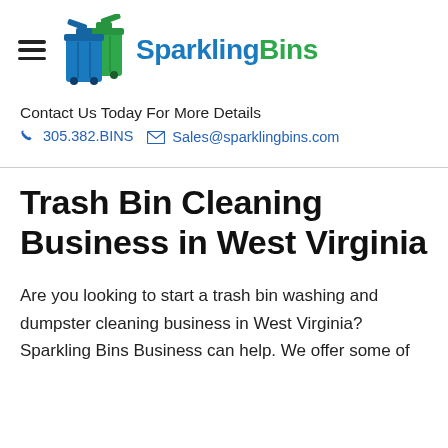[Figure (logo): SparklingBins logo with blue and green trash bins icon and bold two-tone text 'SparklingBins' (blue 'Sparkling', green 'Bins')]
Contact Us Today For More Details
305.382.BINS   Sales@sparklingbins.com
Trash Bin Cleaning Business in West Virginia
Are you looking to start a trash bin washing and dumpster cleaning business in West Virginia? Sparkling Bins Business can help. We offer some of